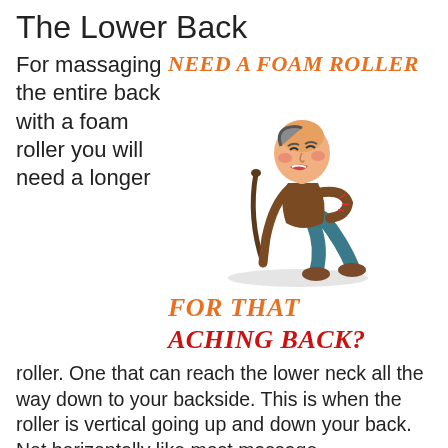The Lower Back
For massaging the entire back with a foam roller you will need a longer roller. One that can reach the lower neck all the way down to your backside. This is when the roller is vertical going up and down your back. Not horizontally like most massage
[Figure (illustration): Cartoon illustration of an elderly bald man bent over in pain, leaning on a walking cane, with his other hand on his lower back. He has an expression of discomfort.]
NEED A FOAM ROLLER
FOR THAT ACHING BACK?